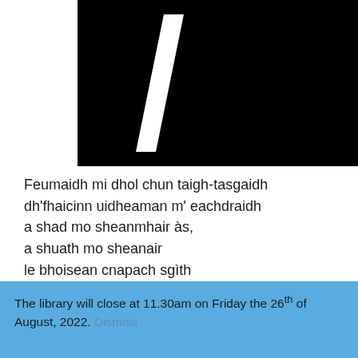[Figure (logo): Large black rectangle with a bold white italic slash/number-1 shape in the center, logo of a library or institution]
Feumaidh mi dhol chun taigh-tasgaidh
dh'fhaicinn uidheaman m' eachdraidh
a shad mo sheanmhair às,
a shuath mo sheanair
le bhoisean cnapach sgìth
air a' chuairt mu dheireadh
a ghabh e
dhan t-sabhal.
The library will close at 11.30am on Friday the 26th of August, 2022. Dismiss